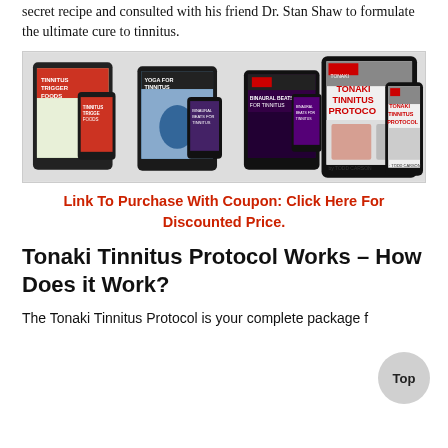secret recipe and consulted with his friend Dr. Stan Shaw to formulate the ultimate cure to tinnitus.
[Figure (photo): Product images showing the Tonaki Tinnitus Protocol package including tablets and phones displaying various book covers: Tinnitus Trigger Foods, Yoga For Tinnitus, Binaural Beats for Tinnitus, and the main Tonaki Tinnitus Protocol by Todd Carson.]
Link To Purchase With Coupon: Click Here For Discounted Price.
Tonaki Tinnitus Protocol Works – How Does it Work?
The Tonaki Tinnitus Protocol is your complete package f